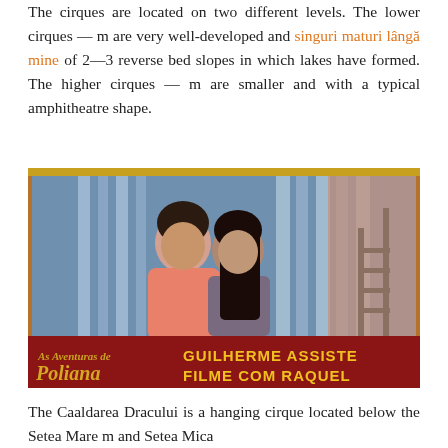The cirques are located on two different levels. The lower cirques — m are very well-developed and singuri maturi lângă mine of 2—3 reverse bed slopes in which lakes have formed. The higher cirques — m are smaller and with a typical amphitheatre shape.
[Figure (photo): Promotional image for TV show 'As Aventuras de Poliana' showing two young people (a young man in a pink shirt and a young woman) posing together. A red banner at the bottom reads 'GUILHERME ASSISTE FILME COM RAQUEL' with the Poliana logo on the left.]
The Caaldarea Dracului is a hanging cirque located below the Setea Mare m and Setea Mica